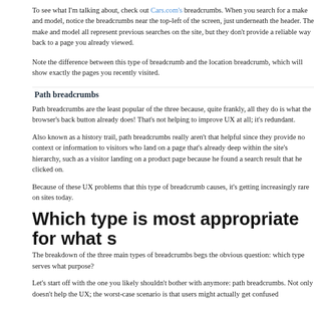already visited.
To see what I'm talking about, check out Cars.com's breadcrumbs. When you search for a make and model, notice the breadcrumbs near the top-left of the screen, just underneath the header. The make and model all represent previous searches on the site, but they don't provide a reliable way back to a page you already viewed.
Note the difference between this type of breadcrumb and the location breadcrumb, which will show exactly the pages you recently visited.
Path breadcrumbs
Path breadcrumbs are the least popular of the three because, quite frankly, all they do is what the browser's back button already does! That's not helping to improve UX at all; it's redundant.
Also known as a history trail, path breadcrumbs really aren't that helpful since they provide no context or information to visitors who land on a page that's already deep within the site's hierarchy, such as a visitor landing on a product page because he found a search result that he clicked on.
Because of these UX problems that this type of breadcrumb causes, it's getting increasingly rare on sites today.
Which type is most appropriate for what s
The breakdown of the three main types of breadcrumbs begs the obvious question: which type serves what purpose?
Let's start off with the one you likely shouldn't bother with anymore: path breadcrumbs. Not only doesn't help the UX; the worst-case scenario is that users might actually get confused